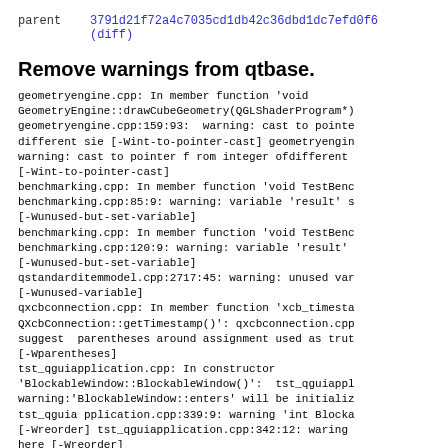parent   3791d21f72a4c7035cd1db42c36dbd1dc7efd0f6
         (diff)
Remove warnings from qtbase.
geometryengine.cpp: In member function 'void
GeometryEngine::drawCubeGeometry(QGLShaderProgram*)
geometryengine.cpp:159:93:  warning: cast to pointe
different sie [-Wint-to-pointer-cast] geometryengin
warning: cast to pointer f rom integer ofdifferent
[-Wint-to-pointer-cast]
benchmarking.cpp: In member function 'void TestBenc
benchmarking.cpp:85:9: warning: variable 'result' s
[-Wunused-but-set-variable]
benchmarking.cpp: In member function 'void TestBenc
benchmarking.cpp:120:9: warning: variable 'result'
[-Wunused-but-set-variable]
qstandarditemmodel.cpp:2717:45: warning: unused var
[-Wunused-variable]
qxcbconnection.cpp: In member function 'xcb_timesta
QXcbConnection::getTimestamp()': qxcbconnection.cpp
suggest  parentheses around assignment used as trut
[-Wparentheses]
tst_qguiapplication.cpp: In constructor
'BlockableWindow::BlockableWindow()':  tst_qguiappl
warning:'BlockableWindow::enters' will be initializ
tst_qguia pplication.cpp:339:9: warning 'int Blocka
[-Wreorder] tst_qguiapplication.cpp:342:12: waring
here [-Wreorder]